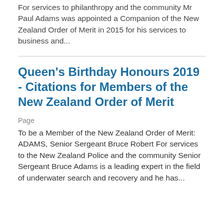For services to philanthropy and the community Mr Paul Adams was appointed a Companion of the New Zealand Order of Merit in 2015 for his services to business and...
Queen's Birthday Honours 2019 - Citations for Members of the New Zealand Order of Merit
Page
To be a Member of the New Zealand Order of Merit: ADAMS, Senior Sergeant Bruce Robert For services to the New Zealand Police and the community Senior Sergeant Bruce Adams is a leading expert in the field of underwater search and recovery and he has...